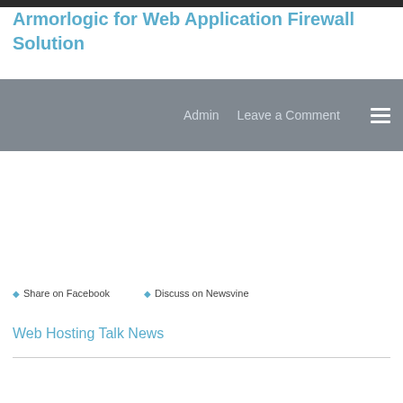Armorlogic for Web Application Firewall Solution
Admin   Leave a Comment
Share on Facebook
Discuss on Newsvine
Web Hosting Talk News